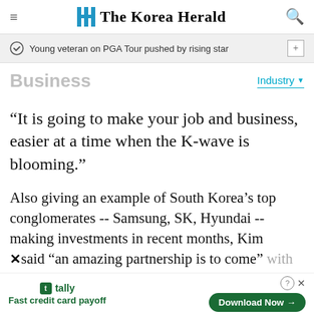The Korea Herald
Young veteran on PGA Tour pushed by rising star
Business
Industry
“It is going to make your job and business, easier at a time when the K-wave is blooming.”
Also giving an example of South Korea’s top conglomerates -- Samsung, SK, Hyundai -- making investments in recent months, Kim said “an amazing partnership is to come” with
[Figure (screenshot): Tally advertisement banner at bottom: 'Fast credit card payoff' with Download Now button]